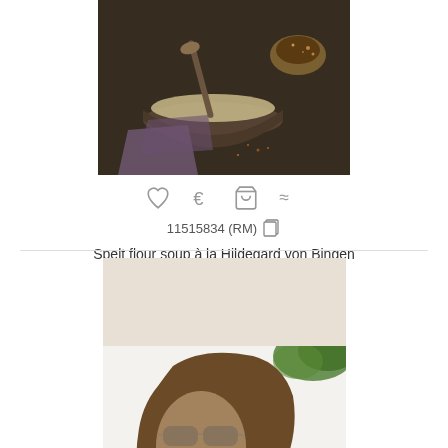[Figure (photo): Spelt flour soup in a bowl with wooden spoon and spices on dark background]
♡  €  🛒  ≈
11515834 (RM)  ☐
Spelt flour soup à la Hildegard von Bingen
[Figure (photo): Woman with sunglasses lying on surface with glass bottles, looking tired or drunk]